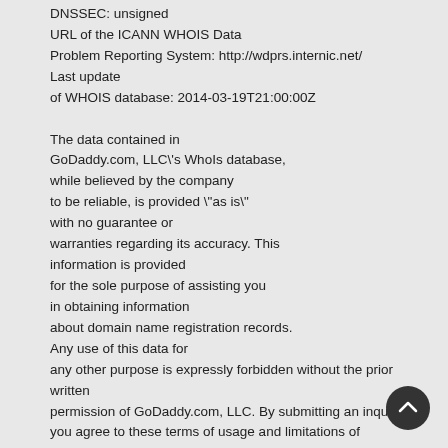DNSSEC: unsigned
URL of the ICANN WHOIS Data
Problem Reporting System: http://wdprs.internic.net/
Last update
of WHOIS database: 2014-03-19T21:00:00Z

The data contained in
GoDaddy.com, LLC\'s WhoIs database,
while believed by the company
to be reliable, is provided \"as is\"
with no guarantee or
warranties regarding its accuracy. This
information is provided
for the sole purpose of assisting you
in obtaining information
about domain name registration records.
Any use of this data for
any other purpose is expressly forbidden without the prior written
permission of GoDaddy.com, LLC. By submitting an inquiry,
you agree to these terms of usage and limitations of warranty. In particular,
you agree not to use this data to allow,
enable, or otherwise make possible,
dissemination or collection of
this data, in part or in its entirety, for any
purpose, such as
the transmission of unsolicited advertising and
[Figure (other): Scroll-to-top button: dark circular button with upward chevron arrow icon]